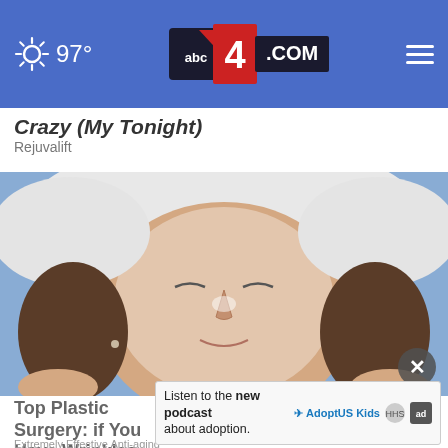97° abc4.com
Crazy (My Tonight)
Rejuvalift
[Figure (photo): Close-up photo of a woman with eyes closed receiving a facial treatment, her face covered in a glossy product and wrapped in a white towel.]
Top Plastic Surgery: if You Have Wrinkles This...
Extremely Effective Anti-aging
Listen to the new podcast about adoption.